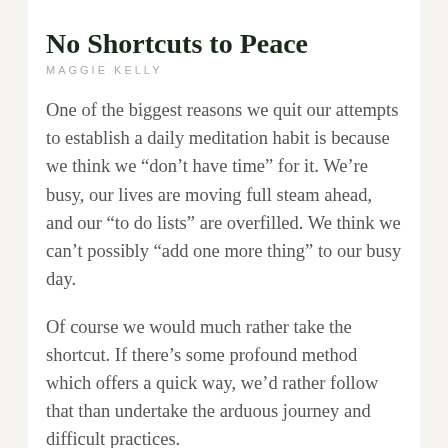No Shortcuts to Peace
MAGGIE KELLY
One of the biggest reasons we quit our attempts to establish a daily meditation habit is because we think we “don’t have time” for it. We’re busy, our lives are moving full steam ahead, and our “to do lists” are overfilled. We think we can’t possibly “add one more thing” to our busy day.
Of course we would much rather take the shortcut. If there’s some profound method which offers a quick way, we’d rather follow that than undertake the arduous journey and difficult practices.
Here’s the deal. If we travel by foot, we’ll